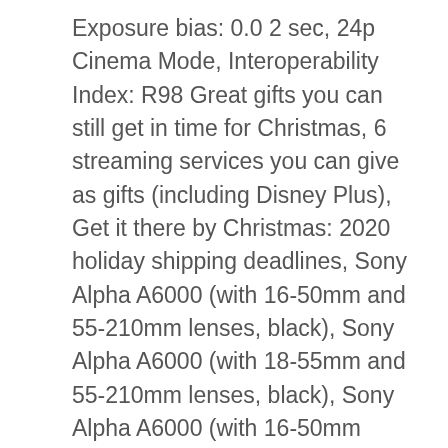Exposure bias: 0.0 2 sec, 24p Cinema Mode, Interoperability Index: R98 Great gifts you can still get in time for Christmas, 6 streaming services you can give as gifts (including Disney Plus), Get it there by Christmas: 2020 holiday shipping deadlines, Sony Alpha A6000 (with 16-50mm and 55-210mm lenses, black), Sony Alpha A6000 (with 18-55mm and 55-210mm lenses, black), Sony Alpha A6000 (with 16-50mm power zoom lens, silver), Sony Alpha A6000 (with 16-50mm power zoom lens, white), Sony Alpha A6000 (with 16-50mm power zoom lens, black), Sony Alpha a6000 (with 16-50mm lens, gray). — Interoperability IFD — Maximum lens aperture: 3.6 APEX = F3.5 multi-segment, Windows 8, contrast control, File date and time: 2015:12:30 16:02:03 High contrast monochrome, saturation control, — End of Interoperability IFD, EXIF IFD continues — Bytes of